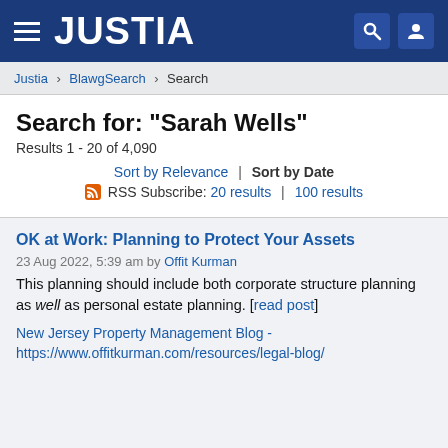JUSTIA
Justia › BlawgSearch › Search
Search for: "Sarah Wells"
Results 1 - 20 of 4,090
Sort by Relevance | Sort by Date
RSS Subscribe: 20 results | 100 results
OK at Work: Planning to Protect Your Assets
23 Aug 2022, 5:39 am by Offit Kurman
This planning should include both corporate structure planning as well as personal estate planning. [read post]
New Jersey Property Management Blog - https://www.offitkurman.com/resources/legal-blog/